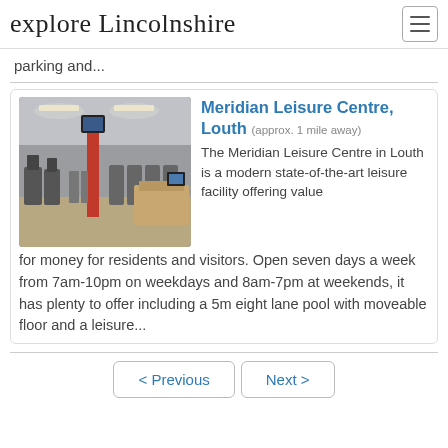explore Lincolnshire
parking and...
[Figure (photo): Interior of Meridian Leisure Centre gym with exercise machines in rows, red support column, and overhead lighting]
Meridian Leisure Centre, Louth (approx. 1 mile away)
The Meridian Leisure Centre in Louth is a modern state-of-the-art leisure facility offering value for money for residents and visitors. Open seven days a week from 7am-10pm on weekdays and 8am-7pm at weekends, it has plenty to offer including a 5m eight lane pool with moveable floor and a leisure...
< Previous   Next >